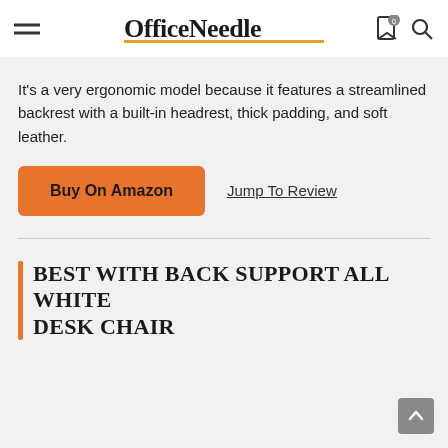OfficeNeedle
It’s a very ergonomic model because it features a streamlined backrest with a built-in headrest, thick padding, and soft leather.
Buy On Amazon   Jump To Review
BEST WITH BACK SUPPORT ALL WHITE DESK CHAIR